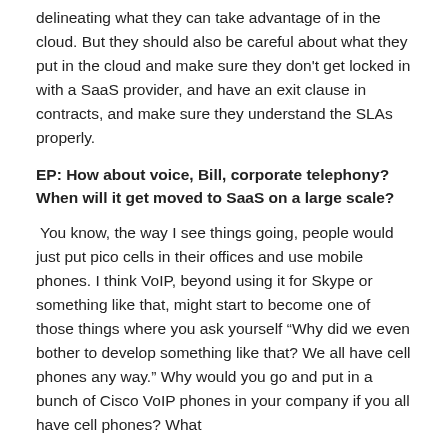delineating what they can take advantage of in the cloud. But they should also be careful about what they put in the cloud and make sure they don't get locked in with a SaaS provider, and have an exit clause in contracts, and make sure they understand the SLAs properly.
EP: How about voice, Bill, corporate telephony? When will it get moved to SaaS on a large scale?
You know, the way I see things going, people would just put pico cells in their offices and use mobile phones. I think VoIP, beyond using it for Skype or something like that, might start to become one of those things where you ask yourself “Why did we even bother to develop something like that? We all have cell phones any way.” Why would you go and put in a bunch of Cisco VoIP phones in your company if you all have cell phones? What